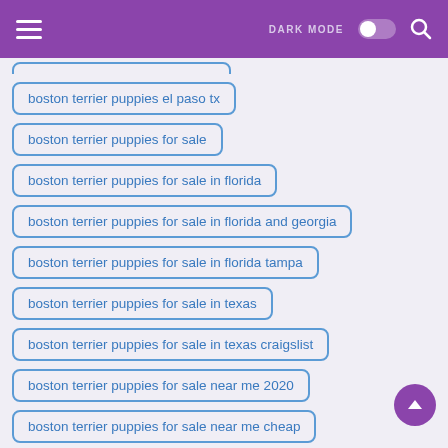DARK MODE [toggle] [search]
boston terrier puppies el paso tx
boston terrier puppies for sale
boston terrier puppies for sale in florida
boston terrier puppies for sale in florida and georgia
boston terrier puppies for sale in florida tampa
boston terrier puppies for sale in texas
boston terrier puppies for sale in texas craigslist
boston terrier puppies for sale near me 2020
boston terrier puppies for sale near me cheap
boston terrier puppies for sale near me craigslist